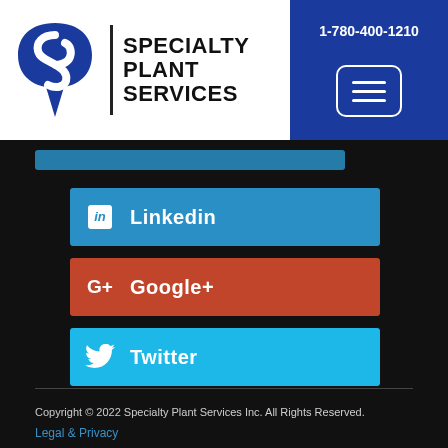[Figure (logo): Specialty Plant Services logo with blue stylized icon and text 'SPECIALTY PLANT SERVICES' and phone number 1-780-400-1210 on blue background with hamburger menu button]
Linkedin
Google+
Twitter
Copyright © 2022 Specialty Plant Services Inc. All Rights Reserved.
Legal & Privacy